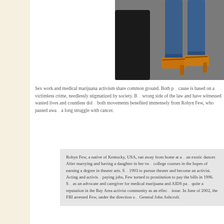[Figure (photo): Photo showing lower legs of a person wearing blue jeans and orange/yellow heeled sandals, standing next to a black dog on pavement]
Sex work and medical marijuana activism share common ground. Both p... cause is based on a victimless crime, needlessly stigmatized by society. B... wrong side of the law and have witnessed wasted lives and countless dol... both movements benefited immensely from Robyn Few, who passed awa... a long struggle with cancer.
Robyn Few, a native of Kentucky, USA, ran away from home at a... an exotic dancer. After marrying and having a daughter in her tw... college courses in the hopes of earning a degree in theater arts. S... 1993 to pursue theater and become an activist. Acting and activis... paying jobs, Few turned to prostitution to pay the bills in 1996. S... as an advocate and caregiver for medical marijuana and AIDS pa... quite a reputation in the Bay Area activist community as an effec... issue. In June of 2002, the FBI arrested Few, under the direction o... General John Ashcroft.